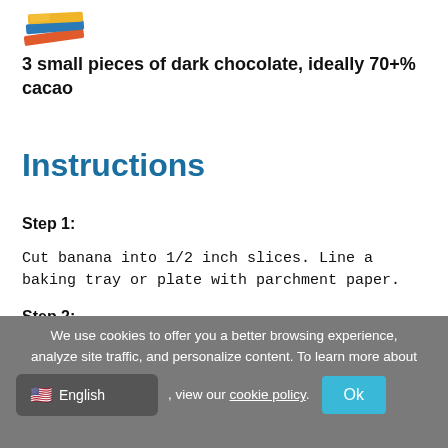[Figure (illustration): Colorful stacked books icon/logo in top left corner]
3 small pieces of dark chocolate, ideally 70+% cacao
Instructions
Step 1:
Cut banana into 1/2 inch slices. Line a baking tray or plate with parchment paper.
Step 2:
We use cookies to offer you a better browsing experience, analyze site traffic, and personalize content. To learn more about , view our cookie policy.